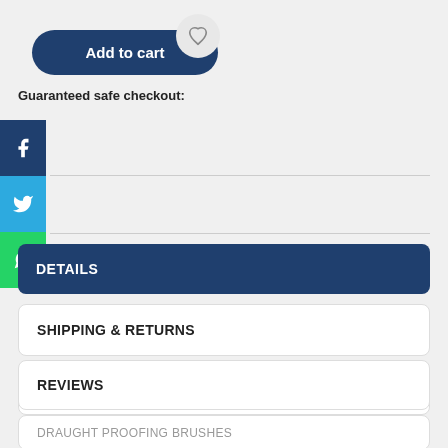[Figure (screenshot): Add to cart button (dark blue rounded pill) and wishlist heart icon button]
Guaranteed safe checkout:
[Figure (infographic): Social sharing sidebar with Facebook (dark blue), Twitter (light blue), and WhatsApp (green) icons]
DETAILS
SHIPPING & RETURNS
SIZE CHART
REVIEWS
DRAUGHT PROOFING BRUSHES